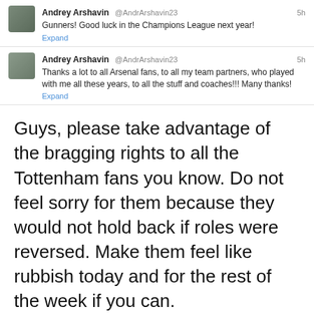[Figure (screenshot): Tweet from Andrey Arshavin (@AndrArshavin23): 'Gunners! Good luck in the Champions League next year!' with Expand link, timestamped 5h]
[Figure (screenshot): Tweet from Andrey Arshavin (@AndrArshavin23): 'Thanks a lot to all Arsenal fans, to all my team partners, who played with me all these years, to all the stuff and coaches!!! Many thanks!' with Expand link, timestamped 5h]
Guys, please take advantage of the bragging rights to all the Tottenham fans you know. Do not feel sorry for them because they would not hold back if roles were reversed. Make them feel like rubbish today and for the rest of the week if you can.
Enjoy, enjoy, enjoy…
Privacy & Cookies: This site uses cookies. By continuing to use this website, you agree to their use.
To find out more, including how to control cookies, see here: Cookie Policy
Close and accept